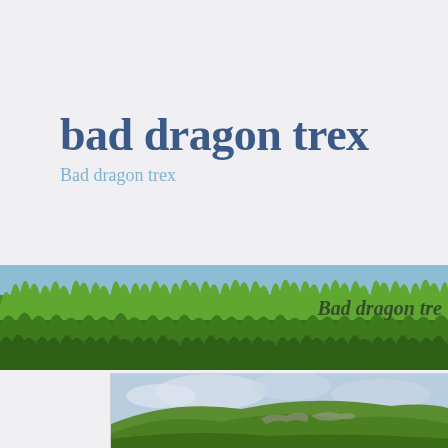bad dragon trex
Bad dragon trex
[Figure (photo): A horizontal banner strip showing green grass against a blue sky, with text 'Bad dragon tre' overlaid on the right side]
[Figure (photo): A landscape photograph showing green rolling hills with rocky outcrops under a cloudy sky, partially cropped, shown in a white-bordered frame]